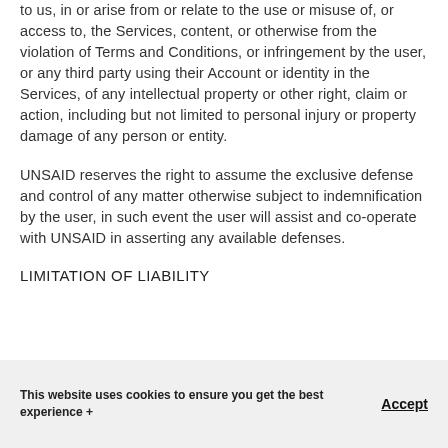to us, in or arise from or relate to the use or misuse of, or access to, the Services, content, or otherwise from the violation of Terms and Conditions, or infringement by the user, or any third party using their Account or identity in the Services, of any intellectual property or other right, claim or action, including but not limited to personal injury or property damage of any person or entity.
UNSAID reserves the right to assume the exclusive defense and control of any matter otherwise subject to indemnification by the user, in such event the user will assist and co-operate with UNSAID in asserting any available defenses.
LIMITATION OF LIABILITY
This website uses cookies to ensure you get the best experience +